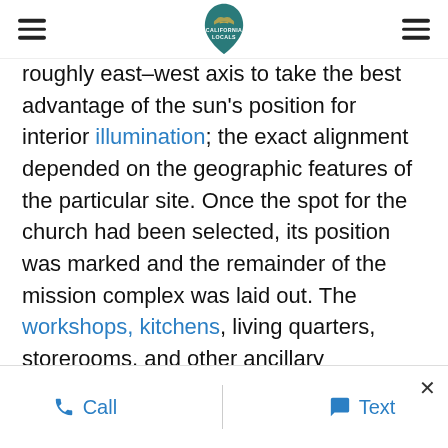California Locals logo with hamburger menus on both sides
roughly east–west axis to take the best advantage of the sun's position for interior illumination; the exact alignment depended on the geographic features of the particular site. Once the spot for the church had been selected, its position was marked and the remainder of the mission complex was laid out. The workshops, kitchens, living quarters, storerooms, and other ancillary chambers were usually grouped in the form of a quadrangle, inside which religious celebrations and other festive events often took place. The cuadrángulo was rarely a perfect square because the missionaries had no surveying instruments at their disposal and simply measured off
Call   Text   ×